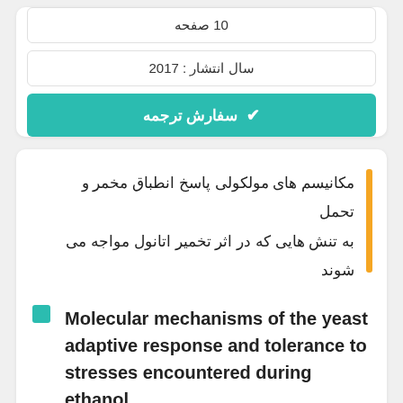10 صفحه
سال انتشار : 2017
✔ سفارش ترجمه
مکانیسم های مولکولی پاسخ انطباق مخمر و تحمل به تنش هایی که در اثر تخمیر اتانول مواجه می شوند
Molecular mechanisms of the yeast adaptive response and tolerance to stresses encountered during ethanol